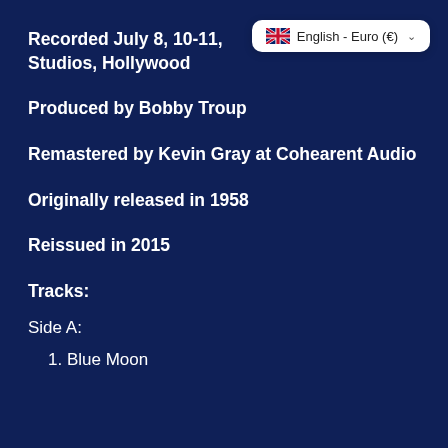Recorded July 8, 10-11, Studios, Hollywood
English - Euro (€)
Produced by Bobby Troup
Remastered by Kevin Gray at Cohearent Audio
Originally released in 1958
Reissued in 2015
Tracks:
Side A:
1. Blue Moon